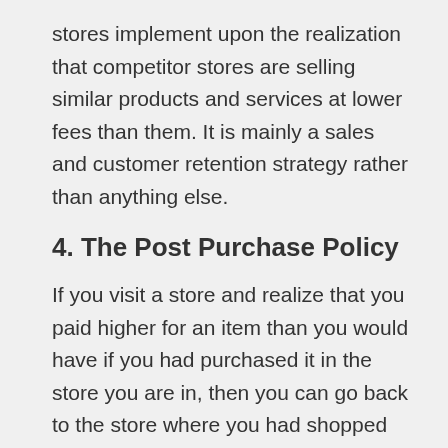stores implement upon the realization that competitor stores are selling similar products and services at lower fees than them. It is mainly a sales and customer retention strategy rather than anything else.
4. The Post Purchase Policy
If you visit a store and realize that you paid higher for an item than you would have if you had purchased it in the store you are in, then you can go back to the store where you had shopped earlier and show them proof of the lower price. With this policy in place, the store will facilitate a refund of the difference or give you store credits for use at a later time.